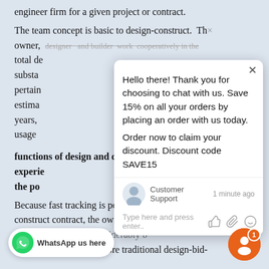engineer firm for a given project or contract.
The team concept is basic to design-construct. The owner, designer, and builder work cooperatively in the total de... substa... pertain... estima... years, usage...
[Figure (screenshot): Chat popup overlay with message: Hello there! Thank you for choosing to chat with us. Save 15% on all your orders by placing an order with us today. Order now to claim your discount. Discount code SAVE15. Customer Support agent avatar shown. Input field: Type here and press enter.. with icons.]
functions of design and construction. Injecting contractor experie... the po...
Because fast tracking is possible under a design-construct contract, the owner may well ha... the structure considerably b... would have under the more traditional design-bid-
[Figure (screenshot): WhatsApp us here button at bottom left]
[Figure (screenshot): Orange chat bubble button with badge showing 1 at bottom right]